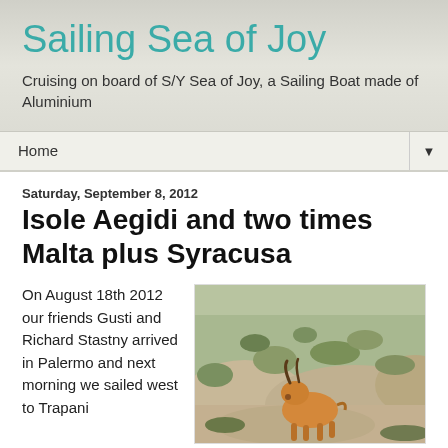Sailing Sea of Joy
Cruising on board of S/Y Sea of Joy, a Sailing Boat made of Aluminium
Home
Saturday, September 8, 2012
Isole Aegidi and two times Malta plus Syracusa
On August 18th 2012 our friends Gusti and Richard Stastny arrived in Palermo and next morning we sailed west to Trapani
[Figure (photo): A goat or similar animal on a rocky hillside with scrubby vegetation]